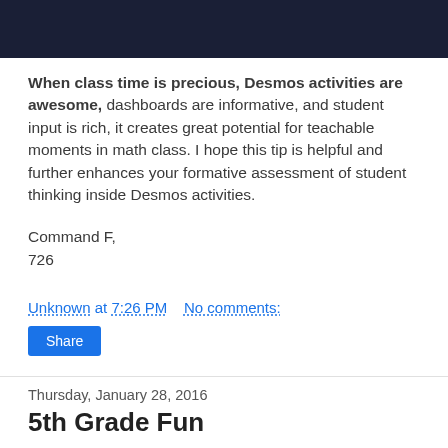[Figure (other): Dark navy/black banner image at top of page]
When class time is precious, Desmos activities are awesome, dashboards are informative, and student input is rich, it creates great potential for teachable moments in math class. I hope this tip is helpful and further enhances your formative assessment of student thinking inside Desmos activities.
Command F,
726
Unknown at 7:26 PM    No comments:
Share
Thursday, January 28, 2016
5th Grade Fun